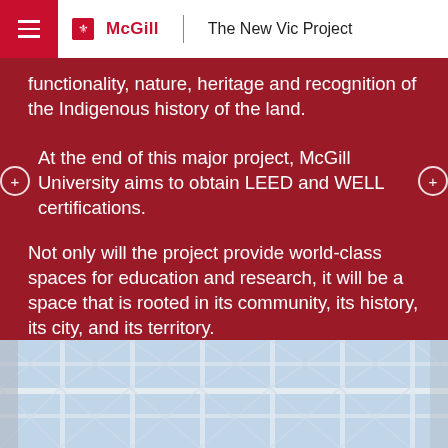McGill | The New Vic Project
functionality, nature, heritage and recognition of the Indigenous history of the land.
At the end of this major project, McGill University aims to obtain LEED and WELL certifications.
Not only will the project provide world-class spaces for education and research, it will be a space that is rooted in its community, its history, its city, and its territory.
[Figure (photo): Interior architectural photo showing a skylight ceiling with triangular geometric glass panels]